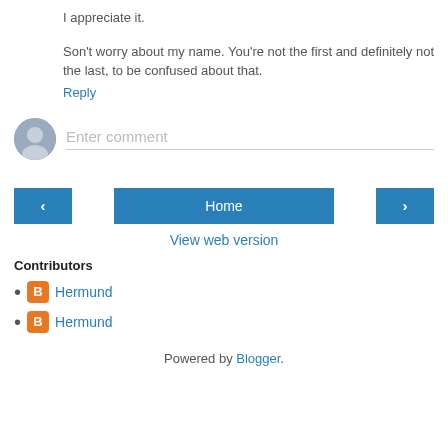I appreciate it.
Son't worry about my name. You're not the first and definitely not the last, to be confused about that.
Reply
[Figure (illustration): Comment input area with user avatar placeholder and 'Enter comment' placeholder text]
[Figure (infographic): Navigation buttons: left arrow, Home, right arrow]
View web version
Contributors
Hermund
Hermund
Powered by Blogger.